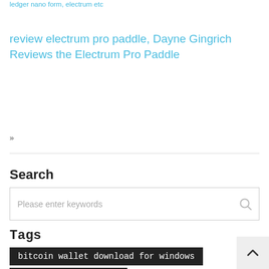ledger nano form, electrum etc
review electrum pro paddle, Dayne Gingrich Reviews the Electrum Pro Paddle
»
Search
Please enter keywords
Tags
bitcoin wallet download for windows
buy and sell bitcoin